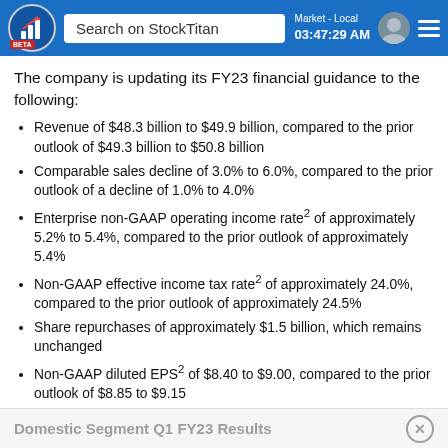Search on StockTitan | Market - Local 03:47:29 AM
The company is updating its FY23 financial guidance to the following:
Revenue of $48.3 billion to $49.9 billion, compared to the prior outlook of $49.3 billion to $50.8 billion
Comparable sales decline of 3.0% to 6.0%, compared to the prior outlook of a decline of 1.0% to 4.0%
Enterprise non-GAAP operating income rate² of approximately 5.2% to 5.4%, compared to the prior outlook of approximately 5.4%
Non-GAAP effective income tax rate² of approximately 24.0%, compared to the prior outlook of approximately 24.5%
Share repurchases of approximately $1.5 billion, which remains unchanged
Non-GAAP diluted EPS² of $8.40 to $9.00, compared to the prior outlook of $8.85 to $9.15
Domestic Segment Q1 FY23 Results